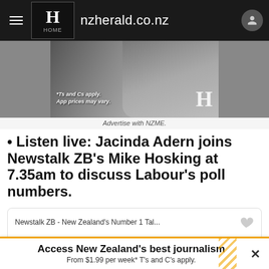nzherald.co.nz
[Figure (photo): Advertisement banner showing a woman holding a phone, with NZ Herald blackletter H logo. Text: *Ts and Cs apply. App prices may vary.]
Advertise with NZME.
• Listen live: Jacinda Adern joins Newstalk ZB's Mike Hosking at 7.35am to discuss Labour's poll numbers.
[Figure (screenshot): Embedded iHeartRadio player card showing Newstalk ZB - New Zealand's Number 1 Tal... with iHeart logo and scroll-up button]
Access New Zealand's best journalism From $1.99 per week* T's and C's apply.